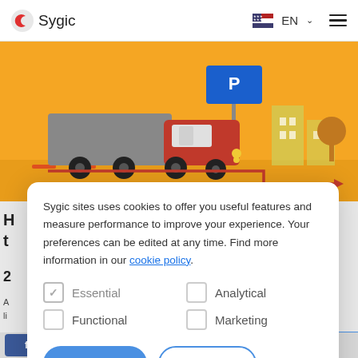Sygic  EN
[Figure (illustration): Illustration of a red truck with a gray trailer on an orange background, with a road sign, buildings, and a tree. A red arrow route line shown below the truck.]
Sygic sites uses cookies to offer you useful features and measure performance to improve your experience. Your preferences can be edited at any time. Find more information in our cookie policy.
Essential  Analytical  Functional  Marketing
Accept all  Reject all